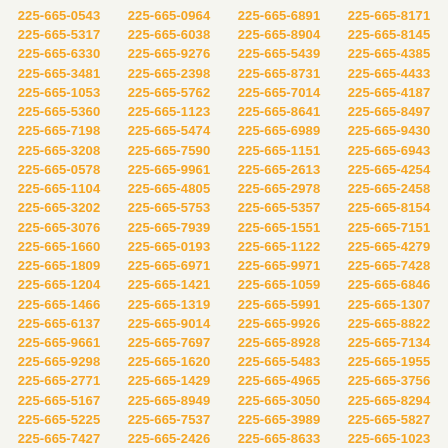225-665-0543
225-665-0964
225-665-6891
225-665-8171
225-665-5317
225-665-6038
225-665-8904
225-665-8145
225-665-6330
225-665-9276
225-665-5439
225-665-4385
225-665-3481
225-665-2398
225-665-8731
225-665-4433
225-665-1053
225-665-5762
225-665-7014
225-665-4187
225-665-5360
225-665-1123
225-665-8641
225-665-8497
225-665-7198
225-665-5474
225-665-6989
225-665-9430
225-665-3208
225-665-7590
225-665-1151
225-665-6943
225-665-0578
225-665-9961
225-665-2613
225-665-4254
225-665-1104
225-665-4805
225-665-2978
225-665-2458
225-665-3202
225-665-5753
225-665-5357
225-665-8154
225-665-3076
225-665-7939
225-665-1551
225-665-7151
225-665-1660
225-665-0193
225-665-1122
225-665-4279
225-665-1809
225-665-6971
225-665-9971
225-665-7428
225-665-1204
225-665-1421
225-665-1059
225-665-6846
225-665-1466
225-665-1319
225-665-5991
225-665-1307
225-665-6137
225-665-9014
225-665-9926
225-665-8822
225-665-9661
225-665-7697
225-665-8928
225-665-7134
225-665-9298
225-665-1620
225-665-5483
225-665-1955
225-665-2771
225-665-1429
225-665-4965
225-665-3756
225-665-5167
225-665-8949
225-665-3050
225-665-8294
225-665-5225
225-665-7537
225-665-3989
225-665-5827
225-665-7427
225-665-2426
225-665-8633
225-665-1023
225-665-3761
225-665-9156
225-665-8558
225-665-5192
225-665-9157
225-665-8075
225-665-2741
225-665-2881
225-665-5785
225-665-7441
225-665-4275
225-665-2558
225-665-4035
225-665-5887
225-665-7830
225-665-7139
225-665-7400
225-665-2768
225-665-0687
225-665-5287
225-665-2814
225-665-4616
225-665-9388
225-665-9302
225-665-3639
225-665-7889
225-665-0267
225-665-4515